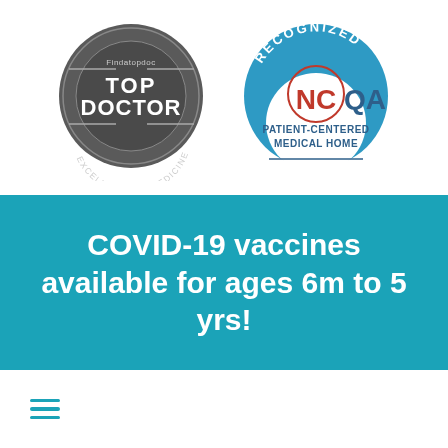[Figure (logo): Findatopdoc TOP DOCTOR Excellence in Medicine badge - circular dark gray badge with text]
[Figure (logo): NCQA Recognized Patient-Centered Medical Home badge - circular blue badge with NCQA in red and blue text]
COVID-19 vaccines available for ages 6m to 5 yrs!
[Figure (other): Hamburger menu icon - three horizontal teal lines]